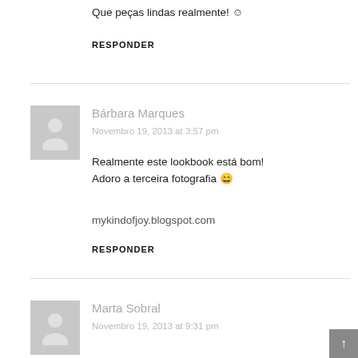Que peças lindas realmente! 😊
RESPONDER
Bárbara Marques
Novembro 19, 2013 at 3:57 pm
Realmente este lookbook está bom!
Adoro a terceira fotografia 😄
mykindofjoy.blogspot.com
RESPONDER
Marta Sobral
Novembro 19, 2013 at 9:31 pm